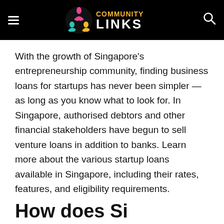Community Links
With the growth of Singapore's entrepreneurship community, finding business loans for startups has never been simpler — as long as you know what to look for. In Singapore, authorised debtors and other financial stakeholders have begun to sell venture loans in addition to banks. Learn more about the various startup loans available in Singapore, including their rates, features, and eligibility requirements.
How does Si...